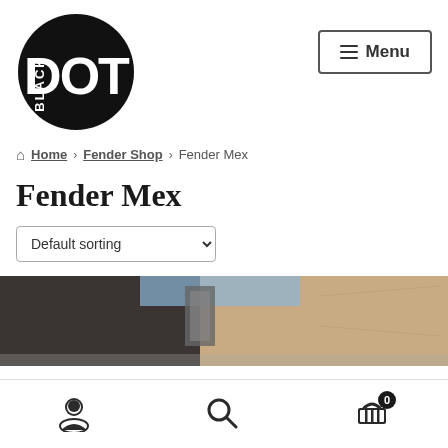[Figure (logo): Black Dot logo: white text 'DOT' and 'BLACK' on a black circle]
[Figure (other): Menu button with hamburger icon and 'Menu' text, bordered rectangle]
Home > Fender Shop > Fender Mex
Fender Mex
Default sorting (dropdown)
[Figure (photo): Partial product photo showing what appears to be a guitar case or bag in black and tan/brown colors]
User icon | Search icon | Cart icon with badge 0